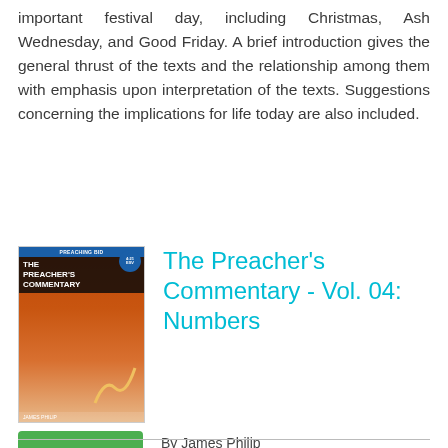important festival day, including Christmas, Ash Wednesday, and Good Friday. A brief introduction gives the general thrust of the texts and the relationship among them with emphasis upon interpretation of the texts. Suggestions concerning the implications for life today are also included.
[Figure (illustration): Book cover of The Preacher's Commentary Vol. 04: Numbers by James Philip]
The Preacher's Commentary - Vol. 04: Numbers
By James Philip
[Figure (other): Green READ PDF button]
File : Pdf, ePub, Mobi, Kindle